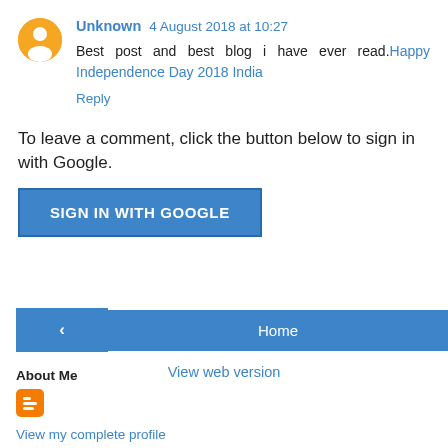Unknown  4 August 2018 at 10:27
Best post and best blog i have ever read. Happy Independence Day 2018 India
Reply
To leave a comment, click the button below to sign in with Google.
[Figure (screenshot): SIGN IN WITH GOOGLE button]
[Figure (screenshot): Navigation buttons: left arrow, Home, right arrow]
View web version
About Me
[Figure (logo): Blogger orange icon]
View my complete profile